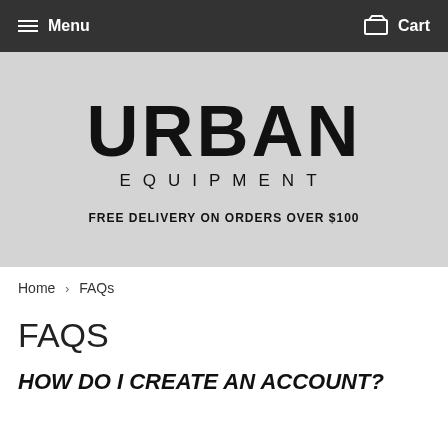Menu   Cart
[Figure (logo): Urban Equipment brand logo with text URBAN in large bold letters and EQUIPMENT in spaced capitals below, on a light grey background. Below the logo: FREE DELIVERY ON ORDERS OVER $100]
FREE DELIVERY ON ORDERS OVER $100
Home › FAQs
FAQS
HOW DO I CREATE AN ACCOUNT?